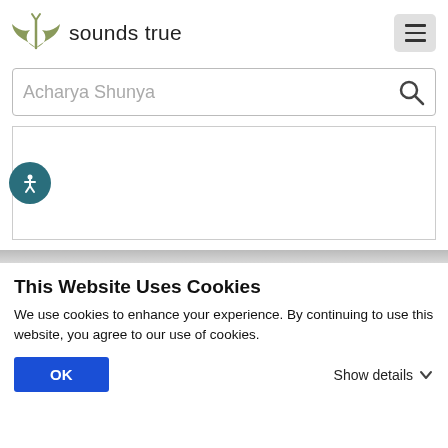[Figure (logo): Sounds True logo with green wing/bird icon and text 'sounds true']
[Figure (screenshot): Search bar with placeholder text 'Acharya Shunya' and a search icon button]
[Figure (screenshot): White content area box with accessibility icon button (person with circle) on the left side]
This Website Uses Cookies
We use cookies to enhance your experience. By continuing to use this website, you agree to our use of cookies.
OK
Show details